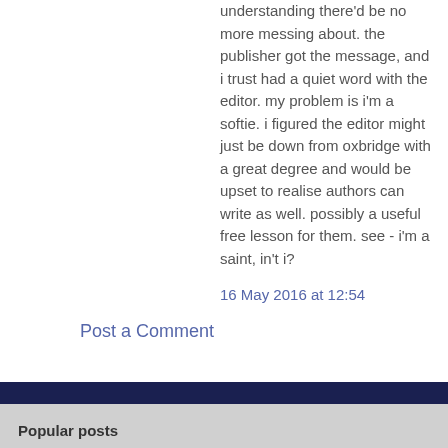understanding there'd be no more messing about. the publisher got the message, and i trust had a quiet word with the editor. my problem is i'm a softie. i figured the editor might just be down from oxbridge with a great degree and would be upset to realise authors can write as well. possibly a useful free lesson for them. see - i'm a saint, in't i?
16 May 2016 at 12:54
Post a Comment
Popular posts
Where We Work (Part Two) - Joint Post
By Lynne Garner - November 28, 2013
Our previous joint blog (under the same name) went down so well that another three members